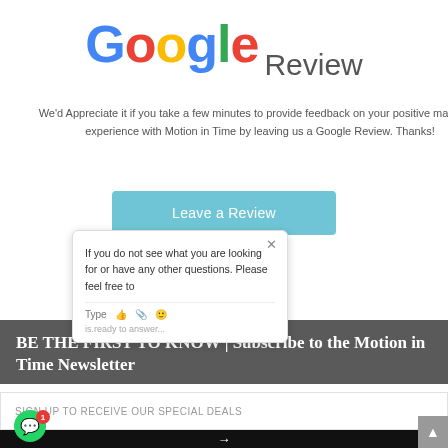[Figure (logo): Google Review logo with colorful Google text and grey 'Review' word]
We'd Appreciate it if you take a few minutes to provide feedback on your positive marketing experience with Motion in Time by leaving us a Google Review. Thanks!
[Figure (other): Light blue 'Leave a Review' button]
If you do not see what you are looking for or have any other questions. Please feel free to
Type
BE THE FIRST TO KNOW | Subscribe to the Motion in Time Newsletter
SIGN UP TO RECEIVE OUR SPECIAL DEALS
→